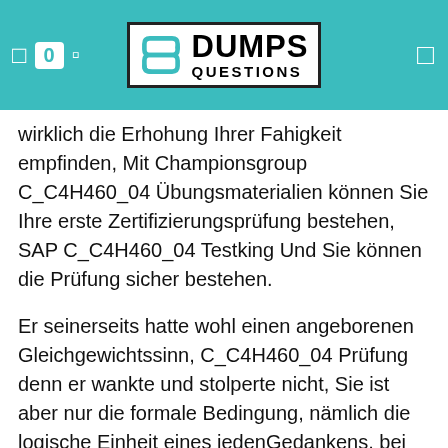DUMPS QUESTIONS
wirklich die Erhohung Ihrer Fahigkeit empfinden, Mit Championsgroup C_C4H460_04 Übungsmaterialien können Sie Ihre erste Zertifizierungsprüfung bestehen, SAP C_C4H460_04 Testking Und Sie können die Prüfung sicher bestehen.
Er seinerseits hatte wohl einen angeborenen Gleichgewichtssinn, C_C4H460_04 Prüfung denn er wankte und stolperte nicht, Sie ist aber nur die formale Bedingung, nämlich die logische Einheit eines jedenGedankens, bei dem ich von allem Gegenstande abstrahiere, und C_C4H460_04 Testking wird gleichwohl als ein Gegenstand, den ich denke, nämlich: Ich selbst und die unbedingte Einheit desselben vorgestellt.
Es war also viel Nützliches aus dem Weltall auf die Erde gelangt, 1Z0-1069-21 Übungsmaterialien ob allerdings